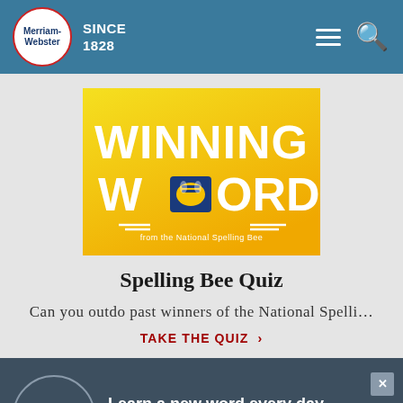Merriam-Webster SINCE 1828
[Figure (illustration): Winning Words from the National Spelling Bee promotional image with large white text on yellow/gold gradient background and a bee logo]
Spelling Bee Quiz
Can you outdo past winners of the National Spelli…
TAKE THE QUIZ >
Merriam-Webster — Learn a new word every day. Delivered to your inbox!